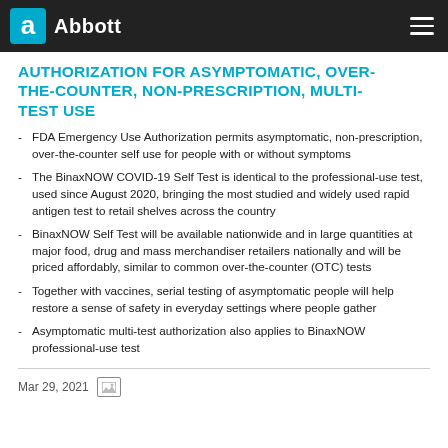Abbott
AUTHORIZATION FOR ASYMPTOMATIC, OVER-THE-COUNTER, NON-PRESCRIPTION, MULTI-TEST USE
FDA Emergency Use Authorization permits asymptomatic, non-prescription, over-the-counter self use for people with or without symptoms
The BinaxNOW COVID-19 Self Test is identical to the professional-use test, used since August 2020, bringing the most studied and widely used rapid antigen test to retail shelves across the country
BinaxNOW Self Test will be available nationwide and in large quantities at major food, drug and mass merchandiser retailers nationally and will be priced affordably, similar to common over-the-counter (OTC) tests
Together with vaccines, serial testing of asymptomatic people will help restore a sense of safety in everyday settings where people gather
Asymptomatic multi-test authorization also applies to BinaxNOW professional-use test
Mar 29, 2021